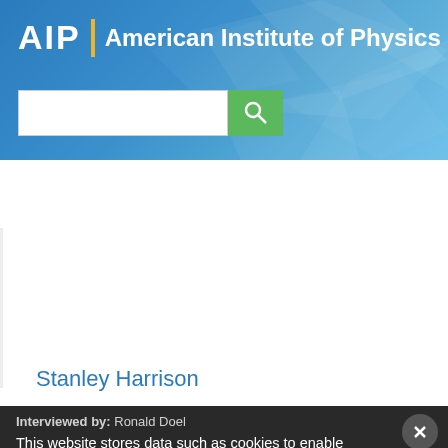AIP | American Institute of Physics
[Figure (screenshot): AIP website header with blue gradient background and geometric polygon shapes, search bar, and hamburger menu navigation bar]
[Figure (photo): Profile photo placeholder (gray rectangle) for Stanley Harrison]
Stanley Harrison
Interviewed by: Ronald Doel
This website stores data such as cookies to enable essential site functionality, as well as marketing, personalization, and analytics. By remaining on this website you indicate your consent. Privacy Policy